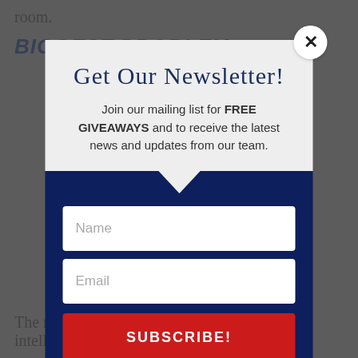room.
BIGGEST PROBLEM
[Figure (screenshot): Newsletter signup modal popup with title 'Get Our Newsletter!', description text, Name and Email input fields, and a red SUBSCRIBE! button on a dark navy background.]
The result is inspiring. Our clients have an intelligently designed master bathroom that